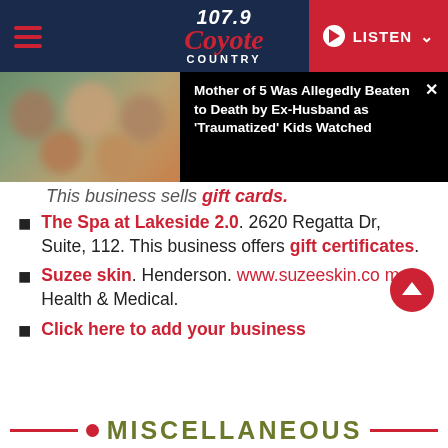107.9 Coyote Country — LISTEN
[Figure (screenshot): News notification banner showing a family photo with blurred faces and headline: Mother of 5 Was Allegedly Beaten to Death by Ex-Husband as 'Traumatized' Kids Watched]
This business sells gift cards.
The Spa at Lakeside 2.0. 2620 Regatta Dr, Suite, 112. This business offers gift certificates.
Suzee skin. Henderson. www.suzeeskin.com. Health & Medical.
Click here to add your business
MISCELLANEOUS